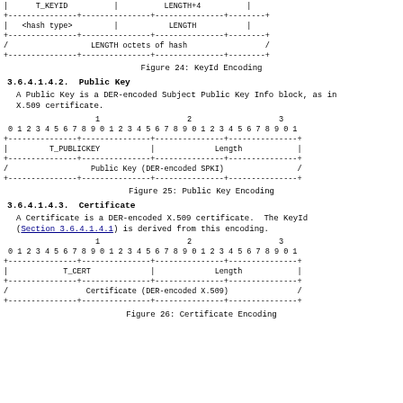[Figure (schematic): KeyId Encoding diagram showing T_KEYID and LENGTH+4 fields, hash type and LENGTH fields, and LENGTH octets of hash]
Figure 24: KeyId Encoding
3.6.4.1.4.2.  Public Key
A Public Key is a DER-encoded Subject Public Key Info block, as in X.509 certificate.
[Figure (schematic): Public Key Encoding diagram showing T_PUBLICKEY and Length fields, and Public Key (DER-encoded SPKI)]
Figure 25: Public Key Encoding
3.6.4.1.4.3.  Certificate
A Certificate is a DER-encoded X.509 certificate.  The KeyId (Section 3.6.4.1.4.1) is derived from this encoding.
[Figure (schematic): Certificate Encoding diagram showing T_CERT and Length fields, and Certificate (DER-encoded X.509)]
Figure 26: Certificate Encoding